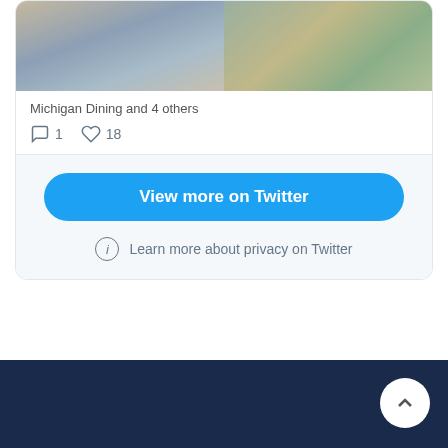[Figure (photo): Two photos side by side showing groups of young people outdoors. Left photo: group of girls posing together in casual summer clothes. Right photo: group of people sitting on the ground outdoors.]
Michigan Dining and 4 others
1 comment, 18 likes
View more on Twitter
Learn more about privacy on Twitter